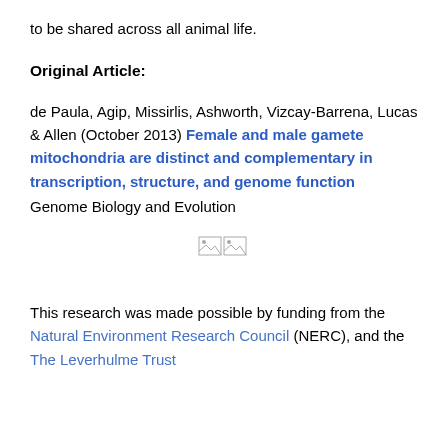to be shared across all animal life.
Original Article:
de Paula, Agip, Missirlis, Ashworth, Vizcay-Barrena, Lucas & Allen (October 2013) Female and male gamete mitochondria are distinct and complementary in transcription, structure, and genome function Genome Biology and Evolution
[Figure (other): Two broken image icons side by side]
This research was made possible by funding from the Natural Environment Research Council (NERC), and the The Leverhulme Trust